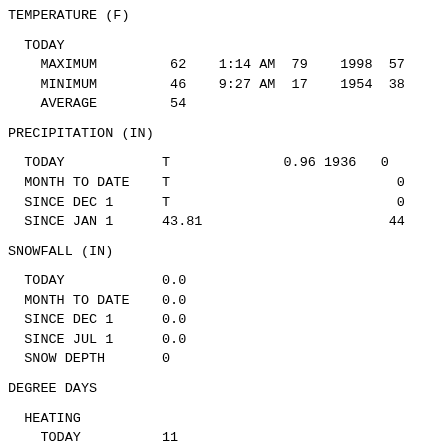TEMPERATURE (F)
TODAY
    MAXIMUM         62    1:14 AM  79    1998  57
    MINIMUM         46    9:27 AM  17    1954  38
    AVERAGE         54
PRECIPITATION (IN)
TODAY            T              0.96 1936   0
  MONTH TO DATE    T                            0
  SINCE DEC 1      T                            0
  SINCE JAN 1      43.81                       44
SNOWFALL (IN)
TODAY            0.0
  MONTH TO DATE    0.0
  SINCE DEC 1      0.0
  SINCE JUL 1      0.0
  SNOW DEPTH       0
DEGREE DAYS
HEATING
    TODAY          11
    MONTH TO DATE  75
    SINCE DEC 1    75
    SINCE JUL 1    536